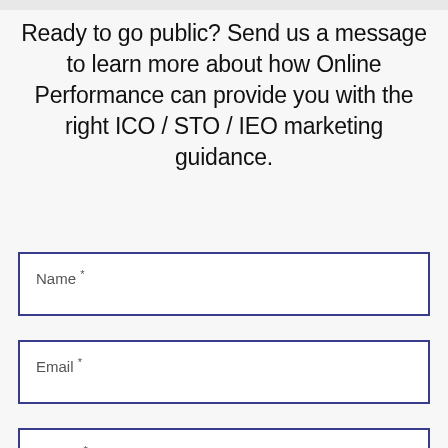Ready to go public? Send us a message to learn more about how Online Performance can provide you with the right ICO / STO / IEO marketing guidance.
Name *
Email *
Phone *